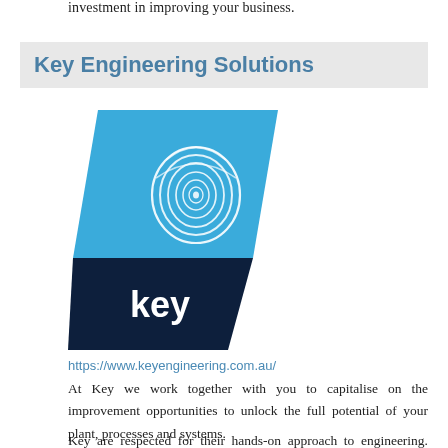investment in improving your business.
Key Engineering Solutions
[Figure (logo): Key Engineering Solutions logo: a blue parallelogram/card shape with a white fingerprint icon on the upper blue portion and the word 'key' in white bold text on a dark navy lower portion.]
https://www.keyengineering.com.au/
At Key we work together with you to capitalise on the improvement opportunities to unlock the full potential of your plant, processes and systems.
Key are respected for their hands-on approach to engineering. They work hard and they work fast,